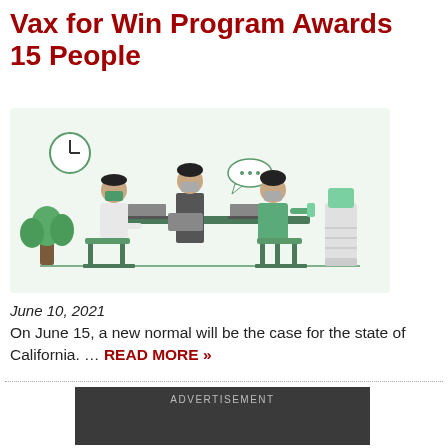Vax for Win Program Awards 15 People
[Figure (illustration): Illustration of masked office workers at a meeting table with a plant, clock, water cooler, and speech bubble on a light green background.]
June 10, 2021
On June 15, a new normal will be the case for the state of California. … READ MORE »